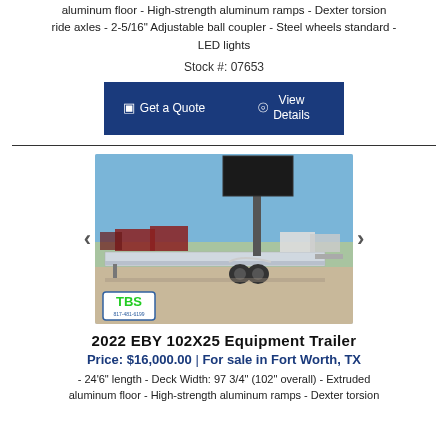aluminum floor - High-strength aluminum ramps - Dexter torsion ride axles - 2-5/16" Adjustable ball coupler - Steel wheels standard - LED lights
Stock #: 07653
Get a Quote   View Details
[Figure (photo): Photo of a 2022 EBY 102X25 Equipment Trailer, a flatbed aluminum trailer parked in a lot with red dump trailers and other trailers in background. TBS dealer logo in lower left.]
2022 EBY 102X25 Equipment Trailer
Price: $16,000.00 | For sale in Fort Worth, TX
- 24'6" length - Deck Width: 97 3/4" (102" overall) - Extruded aluminum floor - High-strength aluminum ramps - Dexter torsion